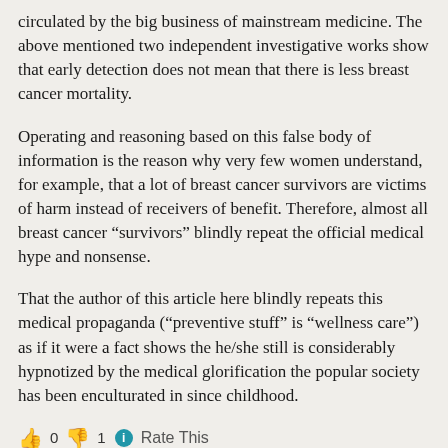circulated by the big business of mainstream medicine. The above mentioned two independent investigative works show that early detection does not mean that there is less breast cancer mortality.
Operating and reasoning based on this false body of information is the reason why very few women understand, for example, that a lot of breast cancer survivors are victims of harm instead of receivers of benefit. Therefore, almost all breast cancer “survivors” blindly repeat the official medical hype and nonsense.
That the author of this article here blindly repeats this medical propaganda (“preventive stuff” is “wellness care”) as if it were a fact shows the he/she still is considerably hypnotized by the medical glorification the popular society has been enculturated in since childhood.
👍 0 👎 1 ⓘ Rate This